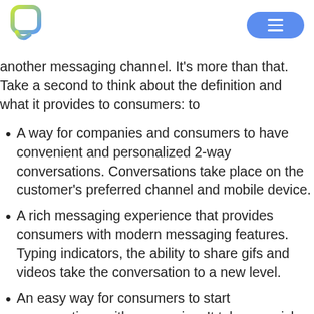[Logo] [Menu button]
another messaging channel. It’s more than that. Take a second to think about the definition and what it provides to consumers: to
A way for companies and consumers to have convenient and personalized 2-way conversations. Conversations take place on the customer’s preferred channel and mobile device.
A rich messaging experience that provides consumers with modern messaging features. Typing indicators, the ability to share gifs and videos take the conversation to a new level.
An easy way for consumers to start conversations with companies. It takes a quick tap on Google Search